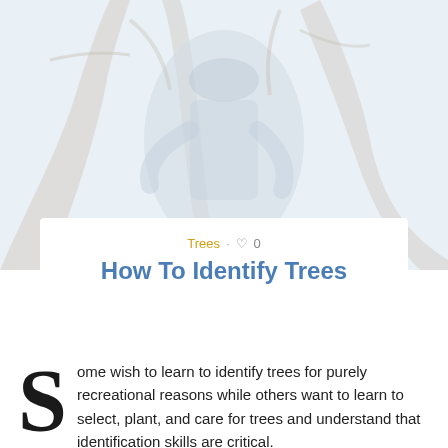[Figure (photo): A tree climber/arborist in safety gear among bare tree branches, faded/washed out photo serving as hero image background]
Trees · ♡ 0
How To Identify Trees
Some wish to learn to identify trees for purely recreational reasons while others want to learn to select, plant, and care for trees and understand that identification skills are critical.